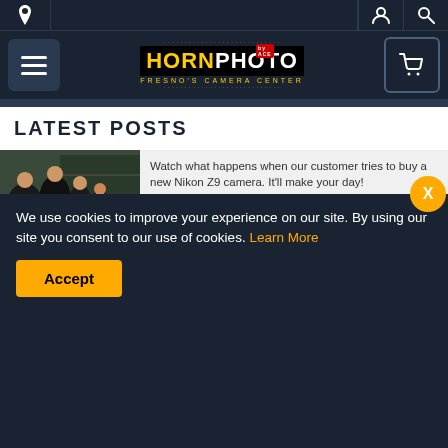Horn Photo - Fresno's Camera Center
LATEST POSTS
[Figure (photo): Group of people in a camera store, staff in black shirts gathered around a counter]
Watch what happens when our customer tries to buy a new Nikon Z9 camera. It'll make your day!
SURPRISE!
By:
[Figure (photo): Promotional image showing a mug and hat with text: Buy lens - get FREE MUG / Buy Camera - get FREE HAT]
and wearing a hat, in Fresno sunshine.
How to LIVE LONGER BY DRINKING
We use cookies to improve your experience on our site. By using our site you consent to our use of cookies. Learn More
Accept